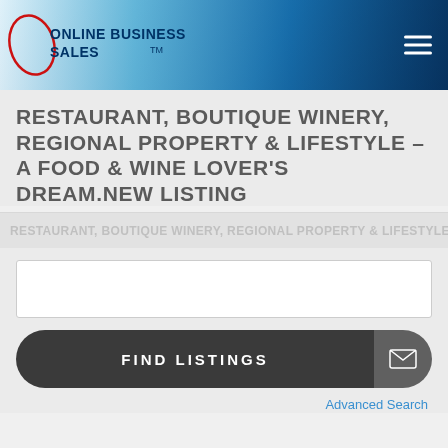ONLINE BUSINESS SALES
RESTAURANT, BOUTIQUE WINERY, REGIONAL PROPERTY & LIFESTYLE – A FOOD & WINE LOVER'S DREAM.NEW LISTING
[Figure (screenshot): Faded repeat of listing title text in light grey background strip]
[Figure (screenshot): Empty white search input box with border]
[Figure (screenshot): Dark rounded Find Listings button with envelope mail icon button on the right]
Advanced Search